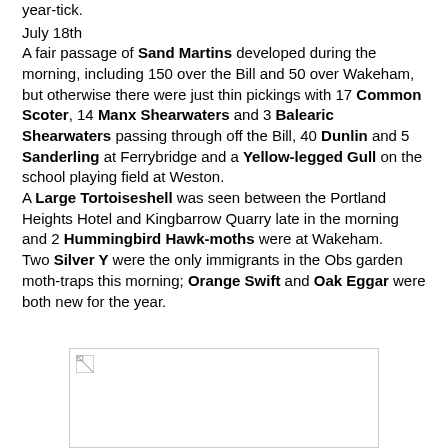year-tick.
July 18th
A fair passage of Sand Martins developed during the morning, including 150 over the Bill and 50 over Wakeham, but otherwise there were just thin pickings with 17 Common Scoter, 14 Manx Shearwaters and 3 Balearic Shearwaters passing through off the Bill, 40 Dunlin and 5 Sanderling at Ferrybridge and a Yellow-legged Gull on the school playing field at Weston.
A Large Tortoiseshell was seen between the Portland Heights Hotel and Kingbarrow Quarry late in the morning and 2 Hummingbird Hawk-moths were at Wakeham.
Two Silver Y were the only immigrants in the Obs garden moth-traps this morning; Orange Swift and Oak Eggar were both new for the year.
[Figure (photo): Broken/missing image placeholder with small broken image icon in top-left corner]